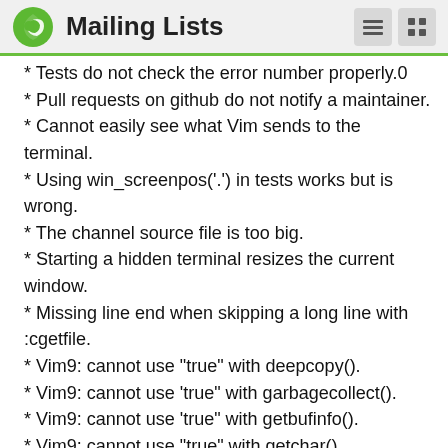Mailing Lists
* Tests do not check the error number properly.0
* Pull requests on github do not notify a maintainer.
* Cannot easily see what Vim sends to the terminal.
* Using win_screenpos('.') in tests works but is wrong.
* The channel source file is too big.
* Starting a hidden terminal resizes the current window.
* Missing line end when skipping a long line with :cgetfile.
* Vim9: cannot use "true" with deepcopy().
* Vim9: cannot use 'true" with garbagecollect().
* Vim9: cannot use 'true" with getbufinfo().
* Vim9: cannot use "true" with getchar().
* Vim9: cannot use "true" with getcompletion().
* Vim9: cannot use "true" with has().
* Vim9: cannot use 'true" with Chl...